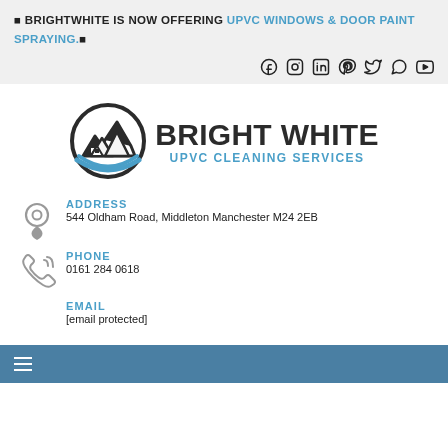🔲 BRIGHTWHITE IS NOW OFFERING UPVC WINDOWS & DOOR PAINT SPRAYING.🔲
[Figure (infographic): Social media icons: Facebook, Instagram, LinkedIn, Pinterest, Twitter, WhatsApp, YouTube]
[Figure (logo): Bright White UPVC Cleaning Services logo with circular house/mountain icon]
ADDRESS
544 Oldham Road, Middleton Manchester M24 2EB
PHONE
0161 284 0618
EMAIL
[email protected]